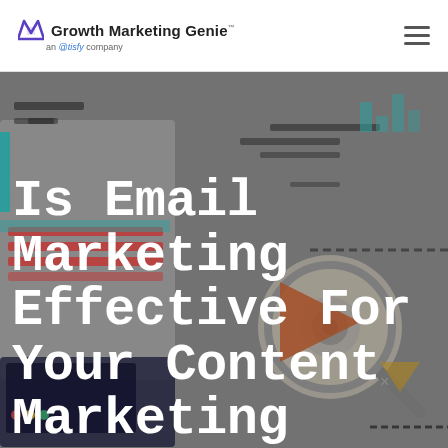Growth Marketing Genie an @tisfy company
[Figure (illustration): Hero background illustration showing email marketing and analytics graphics elements — charts, document icons, magnifying glass, colorful geometric shapes in teal, orange, red, and grey tones.]
Is Email Marketing Effective For Your Content Marketing